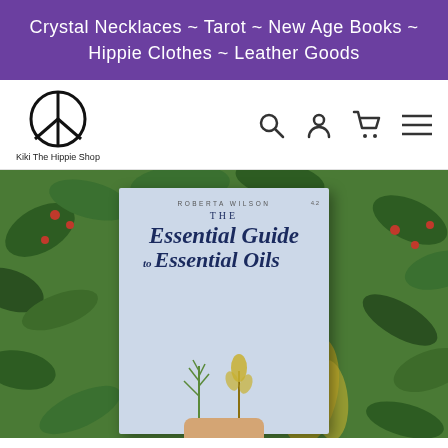Crystal Necklaces ~ Tarot ~ New Age Books ~ Hippie Clothes ~ Leather Goods
[Figure (logo): Peace sign logo with text 'Kiki The Hippie Shop' below it, and navigation icons (search, user, cart, menu) on the right]
[Figure (photo): A hand holding up a book titled 'The Essential Guide to Essential Oils' by Roberta Wilson, against a background of green and red foliage/plants outdoors]